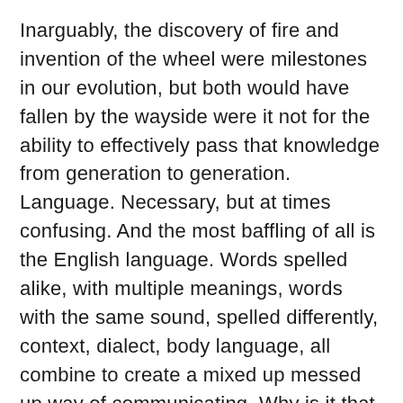Inarguably, the discovery of fire and invention of the wheel were milestones in our evolution, but both would have fallen by the wayside were it not for the ability to effectively pass that knowledge from generation to generation. Language. Necessary, but at times confusing. And the most baffling of all is the English language. Words spelled alike, with multiple meanings, words with the same sound, spelled differently, context, dialect, body language, all combine to create a mixed up messed up way of communicating. Why is it that way? I don't know, but if I had to guess, it would be that English is made up of several different languages, bits and pieces of each, grabbing words from even more languages, balling it all up into what must be a nightmare for anyone not born to it. But surely if we speak slowly enough and enunciate well, anyone should be able to understand us.